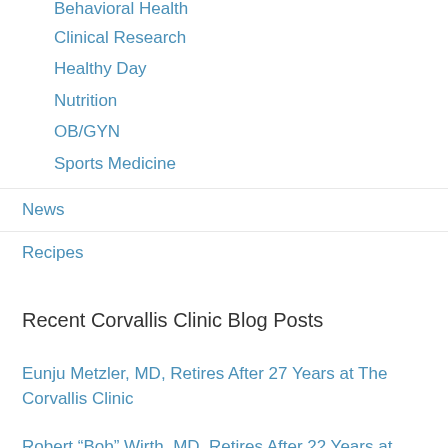Behavioral Health
Clinical Research
Healthy Day
Nutrition
OB/GYN
Sports Medicine
News
Recipes
Recent Corvallis Clinic Blog Posts
Eunju Metzler, MD, Retires After 27 Years at The Corvallis Clinic
Robert “Bob” Wirth, MD, Retires After 22 Years at The Corvallis Clinic